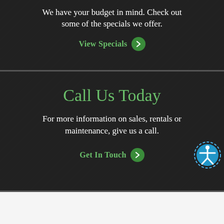We have your budget in mind. Check out some of the specials we offer.
View Specials
Call Us Today
For more information on sales, rentals or maintenance, give us a call.
Get In Touch
Why Choose Us?
Fully Insured